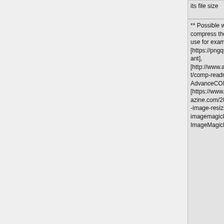| (left col) | (right col - diff) |
| --- | --- |
| its file size | its file size |
| ** Possible ways to compress the png file is to use for example [https://pngquant.org/pngquant], [http://www.advancemame.it/comp-readme AdvanceCOMP] or [https://www.smashingmagazine.com/2015/06/efficient-image-resizing-with-imagemagick/ ImageMagick] | ** Possible ways to compress the png file is to use for example [https://pngquant.org/pngquant], [http://www.advancemame.it/comp-readme AdvanceCOMP] or [https://www.smashingmagazine.com/2015/06/efficient-image-resizing-with-imagemagick/ ImageMagick] |
|  | * Exporting to LaTeX |
|  | ** Recommended approach: |
|  | *** export as pdf |
|  | *** optionally use pdfcrop to cut unecessary white space (usually installed with LaTeX) |